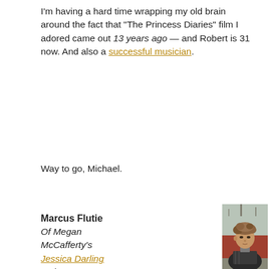I'm having a hard time wrapping my old brain around the fact that "The Princess Diaries" film I adored came out 13 years ago — and Robert is 31 now. And also a successful musician.
Way to go, Michael.
Marcus Flutie
Of Megan McCafferty's Jessica Darling series
[Figure (photo): Photo of a young man with tousled brown hair, wearing a dark jacket with a scarf/flannel, looking slightly off to the side. Background shows trees and a reddish-brown fence or wall.]